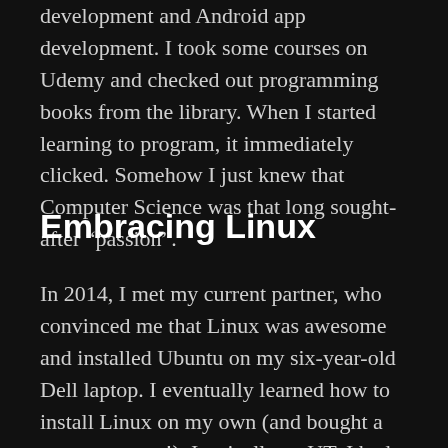work out. Then, I decided to try web development and Android app development. I took some courses on Udemy and checked out programming books from the library. When I started learning to program, it immediately clicked. Somehow I just knew that Computer Science was that long sought-after “passion”.
Embracing Linux
In 2014, I met my current partner, who convinced me that Linux was awesome and installed Ubuntu on my six-year-old Dell laptop. I eventually learned how to install Linux on my own (and bought a new computer!). Ironically, at UT, I had dated a Linux-obsessed Computer Science major, who may have offered to do